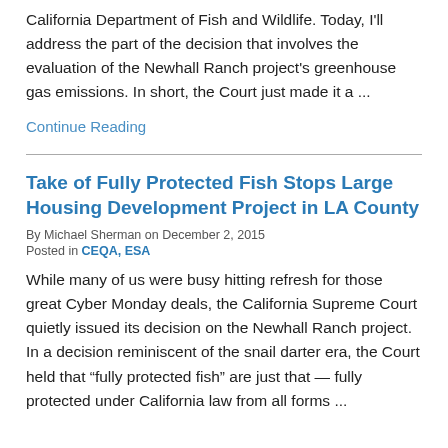California Department of Fish and Wildlife. Today, I'll address the part of the decision that involves the evaluation of the Newhall Ranch project's greenhouse gas emissions. In short, the Court just made it a ...
Continue Reading
Take of Fully Protected Fish Stops Large Housing Development Project in LA County
By Michael Sherman on December 2, 2015
Posted in CEQA, ESA
While many of us were busy hitting refresh for those great Cyber Monday deals, the California Supreme Court quietly issued its decision on the Newhall Ranch project. In a decision reminiscent of the snail darter era, the Court held that “fully protected fish” are just that — fully protected under California law from all forms ...